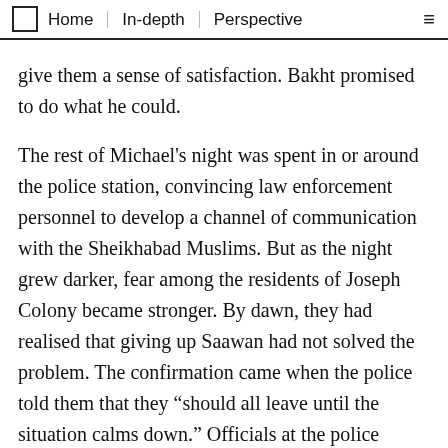Home | In-depth | Perspective
give them a sense of satisfaction. Bakht promised to do what he could.
The rest of Michael's night was spent in or around the police station, convincing law enforcement personnel to develop a channel of communication with the Sheikhabad Muslims. But as the night grew darker, fear among the residents of Joseph Colony became stronger. By dawn, they had realised that giving up Saawan had not solved the problem. The confirmation came when the police told them that they “should all leave until the situation calms down.” Officials at the police station warned them that their refusal to leave